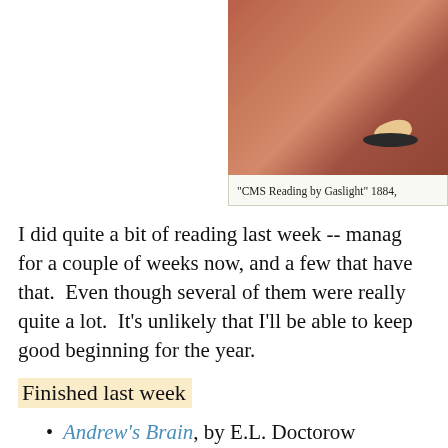[Figure (photo): Photograph showing brick steps with a dark plate and light-colored object, likely related to 'CMS Reading by Gaslight' 1884]
"CMS Reading by Gaslight" 1884,
I did quite a bit of reading last week -- manag for a couple of weeks now, and a few that have that. Even though several of them were really quite a lot. It's unlikely that I'll be able to keep good beginning for the year.
Finished last week
Andrew's Brain, by E.L. Doctorow
The Book Boy, by Joanna Trollope
Fog Magic, by Julia L. Sauer